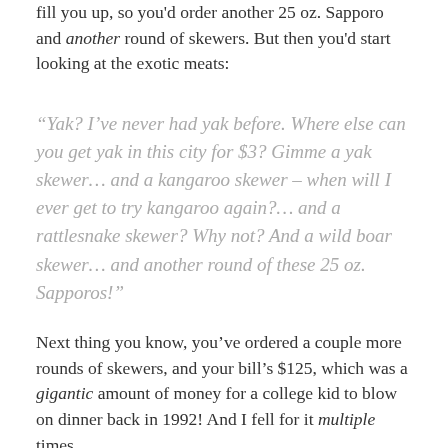fill you up, so you'd order another 25 oz. Sapporo and another round of skewers. But then you'd start looking at the exotic meats:
“Yak? I’ve never had yak before. Where else can you get yak in this city for $3? Gimme a yak skewer… and a kangaroo skewer – when will I ever get to try kangaroo again?… and a rattlesnake skewer? Why not? And a wild boar skewer… and another round of these 25 oz. Sapporos!”
Next thing you know, you’ve ordered a couple more rounds of skewers, and your bill’s $125, which was a gigantic amount of money for a college kid to blow on dinner back in 1992! And I fell for it multiple times.